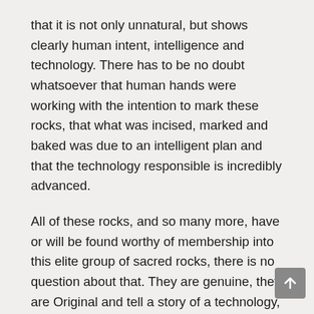that it is not only unnatural, but shows clearly human intent, intelligence and technology. There has to be no doubt whatsoever that human hands were working with the intention to mark these rocks, that what was incised, marked and baked was due to an intelligent plan and that the technology responsible is incredibly advanced.
All of these rocks, and so many more, have or will be found worthy of membership into this elite group of sacred rocks, there is no question about that. They are genuine, they are Original and tell a story of a technology, intelligence and the history of an ancient Australian civilisation that was never lost and is still written into these rocks.
The next question to be answered in relation to these marked rocks has nothing to do with the meaning or means of production and everything to do with why is it